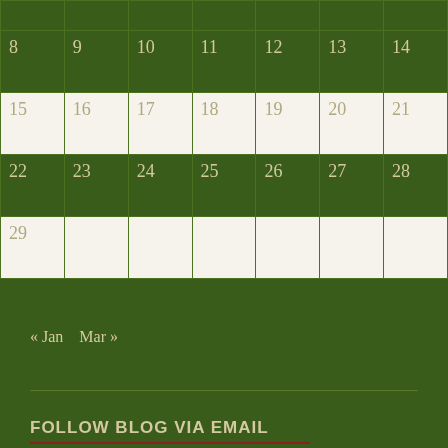|  |  |  |  |  |  |  |
| 8 | 9 | 10 | 11 | 12 | 13 | 14 |
| 15 | 16 | 17 | 18 | 19 | 20 | 21 |
| 22 | 23 | 24 | 25 | 26 | 27 | 28 |
| 29 |  |  |  |  |  |  |
« Jan   Mar »
FOLLOW BLOG VIA EMAIL